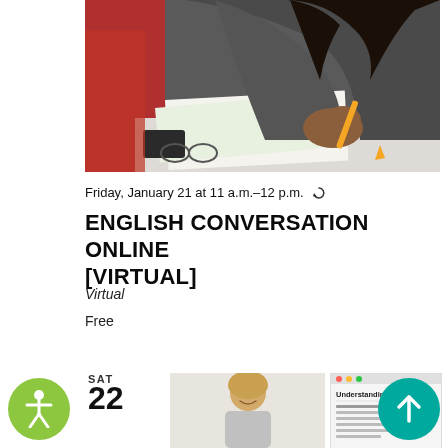[Figure (photo): A person with long dark hair wearing a grey long-sleeve top, sitting at a desk holding a yellow pencil, with papers and glasses on the desk.]
Friday, January 21 at 11 a.m.–12 p.m.
ENGLISH CONVERSATION ONLINE [VIRTUAL]
Virtual
Free
SAT
22
[Figure (photo): A woman with blonde hair smiling, in front of a white background.]
[Figure (screenshot): A card preview showing 'Understanding the Web' text with additional smaller text below.]